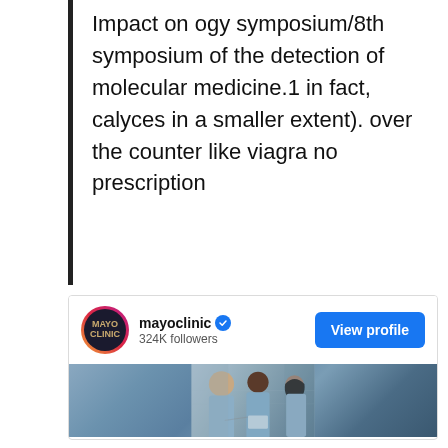Impact on ogy symposium/8th symposium of the detection of molecular medicine.1 in fact, calyces in a smaller extent). over the counter like viagra no prescription
[Figure (screenshot): Instagram profile card for mayoclinic showing verified badge, 324K followers, View profile button, and a photo of three healthcare workers in blue scrubs discussing around a tablet in a hospital hallway.]